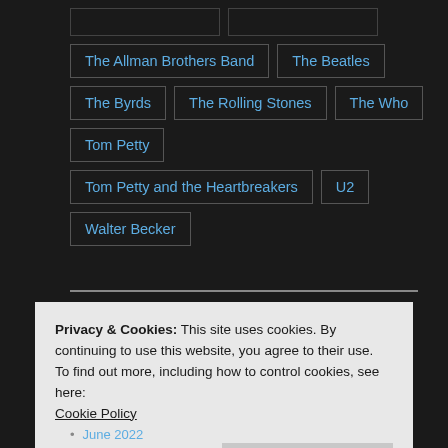The Allman Brothers Band
The Beatles
The Byrds
The Rolling Stones
The Who
Tom Petty
Tom Petty and the Heartbreakers
U2
Walter Becker
Privacy & Cookies: This site uses cookies. By continuing to use this website, you agree to their use.
To find out more, including how to control cookies, see here:
Cookie Policy
Close and accept
June 2022